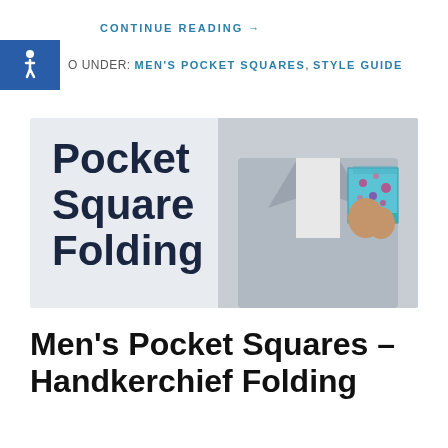CONTINUE READING →
FILED UNDER: MEN'S POCKET SQUARES, STYLE GUIDE
[Figure (photo): Banner image showing 'Pocket Square Folding' text on grey background with a man in a grey suit inserting a blue floral pocket square into his breast pocket]
Men's Pocket Squares – Handkerchief Folding